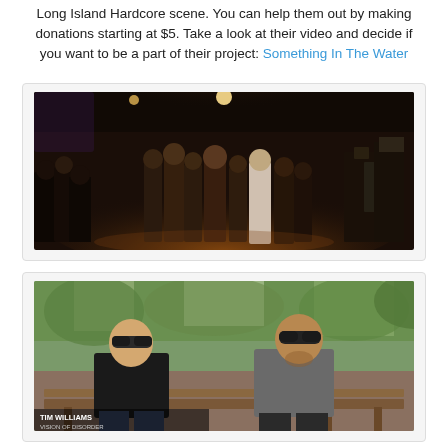Long Island Hardcore scene. You can help them out by making donations starting at $5. Take a look at their video and decide if you want to be a part of their project: Something In The Water
[Figure (photo): Video thumbnail of a live hardcore concert scene with crowd, performers on stage under warm orange/yellow lighting in a dark venue.]
[Figure (photo): Video thumbnail showing two men wearing sunglasses sitting on a bench outdoors in a park. Lower left caption reads 'TIM WILLIAMS / VISION OF DISORDER'.]